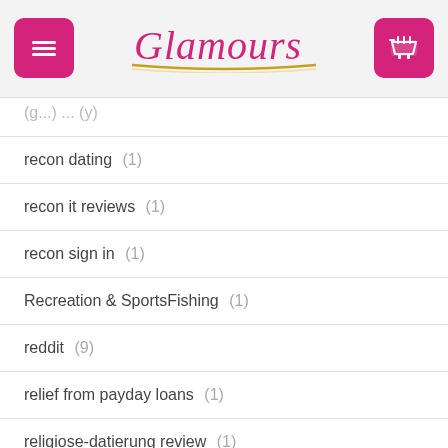Glamours
recon dating (1)
recon it reviews (1)
recon sign in (1)
Recreation & SportsFishing (1)
reddit (9)
relief from payday loans (1)
religiose-datierung review (1)
rencontres baptiste gay (1)
rencontres bbw gay (1)
rencontres biracial gay (1)